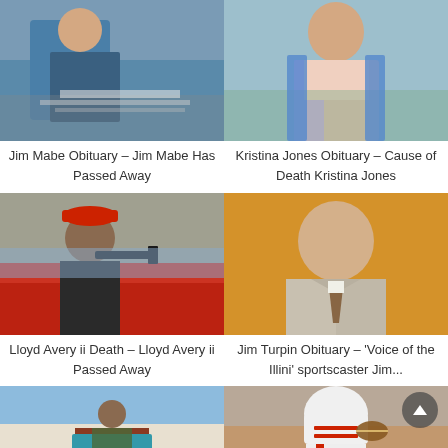[Figure (photo): Man in blue shirt sitting at desk with papers]
Jim Mabe Obituary – Jim Mabe Has Passed Away
[Figure (photo): Young woman in pink top and denim jacket outdoors]
Kristina Jones Obituary – Cause of Death Kristina Jones
[Figure (photo): Man in red cap holding a gun next to a red car]
Lloyd Avery ii Death – Lloyd Avery ii Passed Away
[Figure (photo): Elderly man in suit and tie against orange background]
Jim Turpin Obituary – 'Voice of the Illini' sportscaster Jim...
[Figure (photo): Person in floral shirt speaking at Hawaii podium]
[Figure (photo): Football player in white helmet throwing a pass]